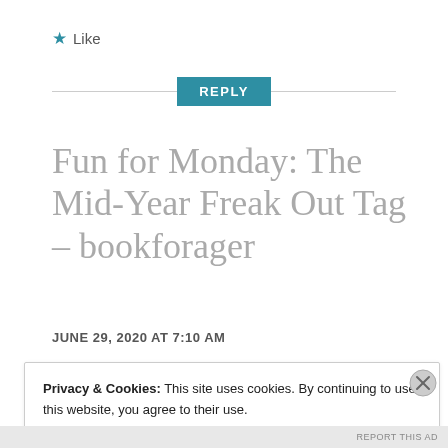★ Like
REPLY
Fun for Monday: The Mid-Year Freak Out Tag – bookforager
JUNE 29, 2020 AT 7:10 AM
Privacy & Cookies: This site uses cookies. By continuing to use this website, you agree to their use.
To find out more, including how to control cookies, see here: Cookie Policy
Close and accept